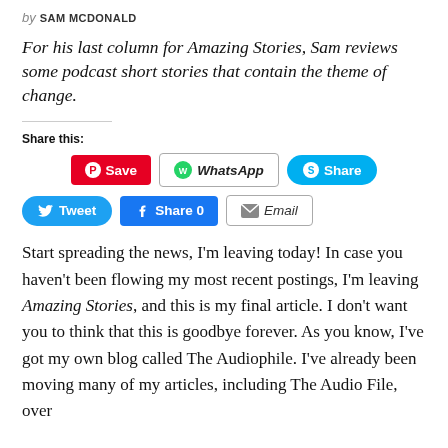by SAM MCDONALD
For his last column for Amazing Stories, Sam reviews some podcast short stories that contain the theme of change.
Share this:
[Figure (other): Social share buttons: Pinterest Save, WhatsApp, Skype Share, Twitter Tweet, Facebook Share 0, Email]
Start spreading the news, I’m leaving today! In case you haven’t been flowing my most recent postings, I’m leaving Amazing Stories, and this is my final article. I don’t want you to think that this is goodbye forever. As you know, I’ve got my own blog called The Audiophile. I’ve already been moving many of my articles, including The Audio File, over